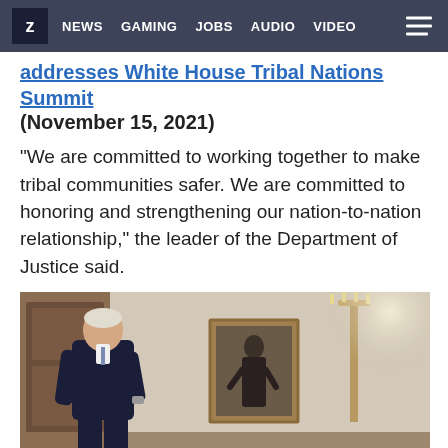Z NEWS GAMING JOBS AUDIO VIDEO
addresses White House Tribal Nations Summit (November 15, 2021)
“We are committed to working together to make tribal communities safer. We are committed to honoring and strengthening our nation-to-nation relationship,” the leader of the Department of Justice said.
[Figure (photo): A man in a dark suit walking in an ornate room with a portrait painting on the wall and a candelabra lamp stand]
White House Fact Sheet: Building A